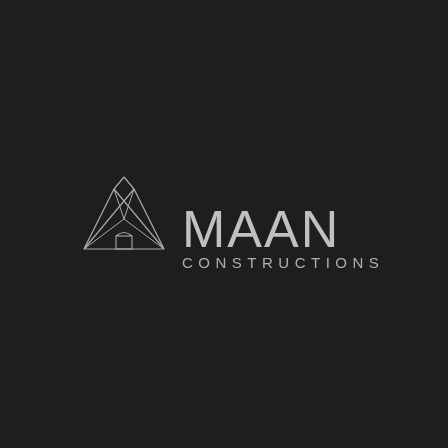[Figure (logo): MAAN Constructions logo: a geometric crown/house icon made of thin lines on the left, followed by the text 'MAAN' in large uppercase letters and 'CONSTRUCTIONS' in spaced uppercase letters below, all in light grey/silver on a dark background.]